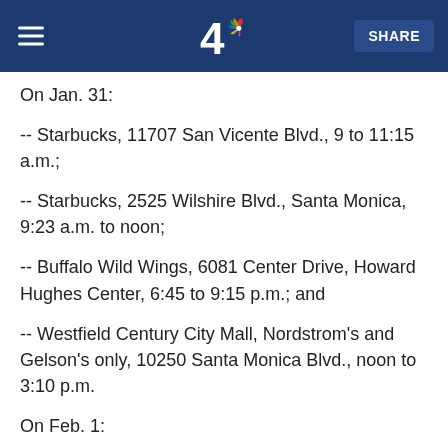NBC 4 - SHARE
On Jan. 31:
-- Starbucks, 11707 San Vicente Blvd., 9 to 11:15 a.m.;
-- Starbucks, 2525 Wilshire Blvd., Santa Monica, 9:23 a.m. to noon;
-- Buffalo Wild Wings, 6081 Center Drive, Howard Hughes Center, 6:45 to 9:15 p.m.; and
-- Westfield Century City Mall, Nordstrom's and Gelson's only, 10250 Santa Monica Blvd., noon to 3:10 p.m.
On Feb. 1: